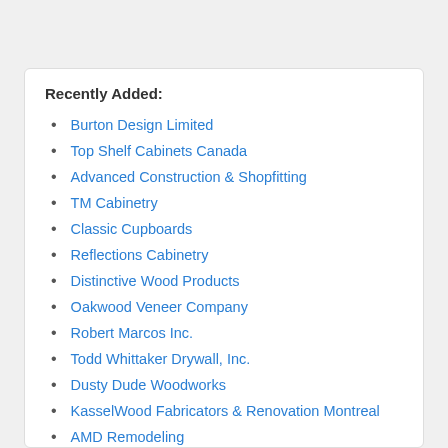Recently Added:
Burton Design Limited
Top Shelf Cabinets Canada
Advanced Construction & Shopfitting
TM Cabinetry
Classic Cupboards
Reflections Cabinetry
Distinctive Wood Products
Oakwood Veneer Company
Robert Marcos Inc.
Todd Whittaker Drywall, Inc.
Dusty Dude Woodworks
KasselWood Fabricators & Renovation Montreal
AMD Remodeling
CNC CUTS MIAMI
Cabinets Repair Golden Valley MN